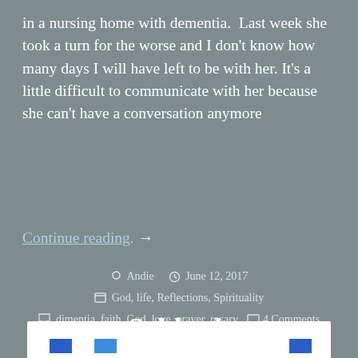in a nursing home with dementia.  Last week she took a turn for the worse and I don't know how many days I will have left to be with her. It's a little difficult to communicate with her because she can't have a conversation anymore
Continue reading. →
Andie   June 12, 2017   God, life, Reflections, Spirituality   dimentia, faith, God, love, prayer, rosary   4 Comments
Sabbath
[Figure (screenshot): Bottom portion of a white content card with blue social/share icons partially visible at the bottom edge]